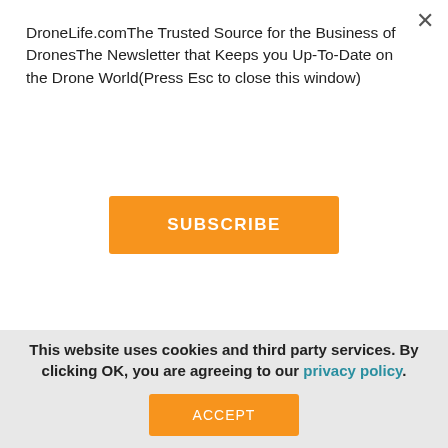DroneLife.comThe Trusted Source for the Business of DronesThe Newsletter that Keeps you Up-To-Date on the Drone World(Press Esc to close this window)
SUBSCRIBE
TWITTER: @spaldingbarker
Subscribe to DroneLife here.
See Also
Video of the Day 3/27/15: Drone Video Compliation
This website uses cookies and third party services. By clicking OK, you are agreeing to our privacy policy.
ACCEPT